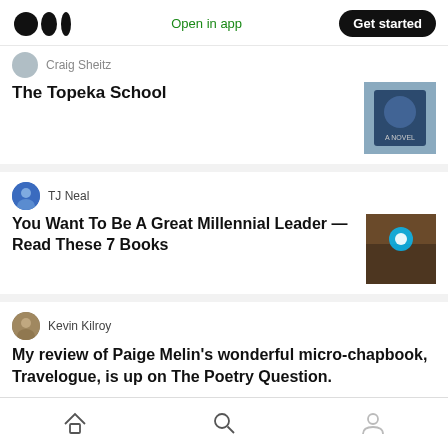Medium app header with logo, Open in app, Get started
Craig Sheitz
The Topeka School
TJ Neal
You Want To Be A Great Millennial Leader — Read These 7 Books
Kevin Kilroy
My review of Paige Melin's wonderful micro-chapbook, Travelogue, is up on The Poetry Question.
HarperBroadcast
Dealing with Anxiety? Here's a List of 15
Bottom navigation bar: Home, Search, Profile